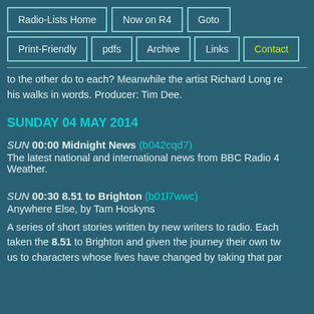Radio-Lists Home | Now on R4 | Goto | Print-Friendly | pdfs | Archive | Links | Contact
to the other do to each? Meanwhile the artist Richard Long re his walks in words. Producer: Tim Dee.
SUNDAY 04 MAY 2014
SUN 00:00 Midnight News (b042cqd7) The latest national and international news from BBC Radio 4 Weather.
SUN 00:30 8.51 to Brighton (b01l7wwc) Anywhere Else, by Tam Hoskyns
A series of short stories written by new writers to radio. Each taken the 8.51 to Brighton and given the journey their own tw us to characters whose lives have changed by taking that par